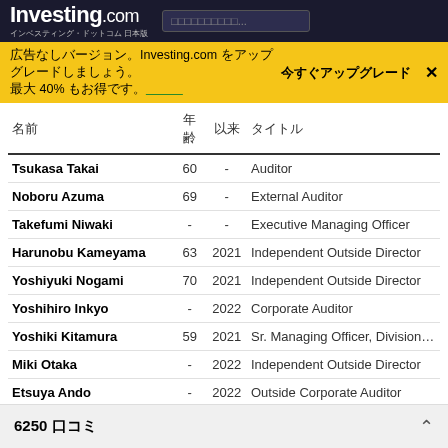Investing.com インベスティング・ドットコム 日本版
広告なしバージョン。Investing.com をアップグレードしましょう。最大 40% もお得です。 今すぐアップグレード
| 名前 | 年齢 | 以来 | タイトル |
| --- | --- | --- | --- |
| Tsukasa Takai | 60 | - | Auditor |
| Noboru Azuma | 69 | - | External Auditor |
| Takefumi Niwaki | - | - | Executive Managing Officer |
| Harunobu Kameyama | 63 | 2021 | Independent Outside Director |
| Yoshiyuki Nogami | 70 | 2021 | Independent Outside Director |
| Yoshihiro Inkyo | - | 2022 | Corporate Auditor |
| Yoshiki Kitamura | 59 | 2021 | Sr. Managing Officer, Division Officer |
| Miki Otaka | - | 2022 | Independent Outside Director |
| Etsuya Ando | - | 2022 | Outside Corporate Auditor |
| Koji Sano | - | 2017 | Outside Independent Director |
| Hiroshi Kubo | - | 2019 | President, CEO & Representative Dir |
| Takuo Yoshizaki | - | 2021 | Director & Managing Officer |
| Takaaki Kitabaya | - | - |  |
6250 口コミ